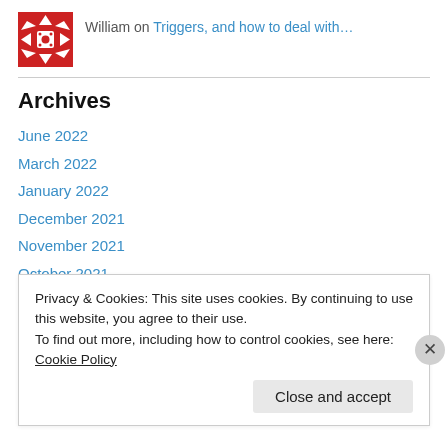[Figure (logo): Red and white decorative geometric/floral avatar icon]
William on Triggers, and how to deal with…
Archives
June 2022
March 2022
January 2022
December 2021
November 2021
October 2021
September 2021
Privacy & Cookies: This site uses cookies. By continuing to use this website, you agree to their use.
To find out more, including how to control cookies, see here: Cookie Policy
Close and accept